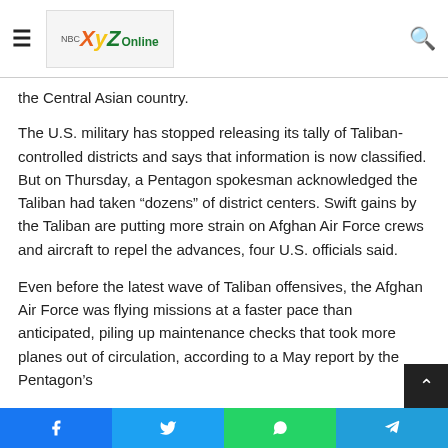XYZOnline
the Central Asian country.
The U.S. military has stopped releasing its tally of Taliban-controlled districts and says that information is now classified. But on Thursday, a Pentagon spokesman acknowledged the Taliban had taken “dozens” of district centers. Swift gains by the Taliban are putting more strain on Afghan Air Force crews and aircraft to repel the advances, four U.S. officials said.
Even before the latest wave of Taliban offensives, the Afghan Air Force was flying missions at a faster pace than anticipated, piling up maintenance checks that took more planes out of circulation, according to a May report by the Pentagon’s
Facebook Twitter WhatsApp Telegram